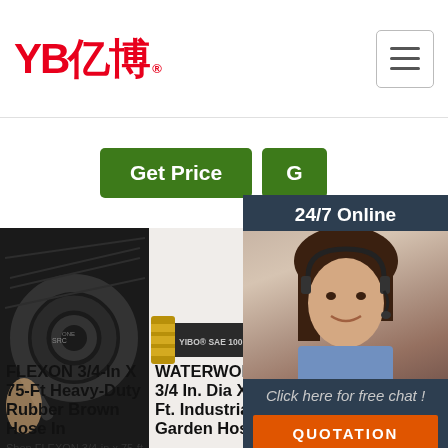[Figure (logo): YB亿博 logo in red with registered trademark symbol]
[Figure (screenshot): Hamburger menu button]
[Figure (other): Green Get Price button]
[Figure (other): Second green G button partially visible]
[Figure (photo): Black rubber hose coils close-up photo]
[Figure (photo): Industrial hose labeled YIBO SAE 100 R12]
[Figure (photo): 24/7 Online chat agent photo with woman headset]
FLEXON 3/4-In X 75-Ft Heavy-Duty Rubber Brown Hose In
Shop FLEXON 3/4-in x 75-ft Heavy-
WATERWORKS 3/4 In. Dia X 75 Ft. Industrial Garden Hose
...
2017-6-
Apache 98108809 3/4' X 100' Industrial Rubber Water
Apache 98108806